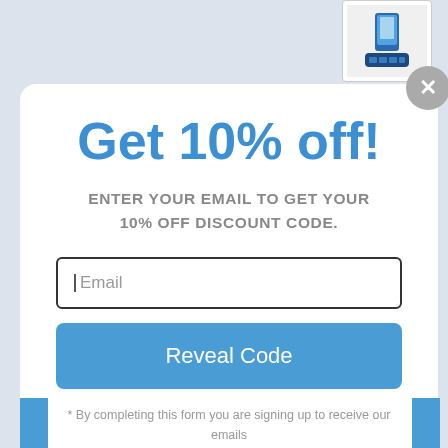[Figure (photo): Product image thumbnail showing a phone charging dock/hub device in the top right corner]
Get 10% off!
ENTER YOUR EMAIL TO GET YOUR 10% OFF DISCOUNT CODE.
Email (input field)
Reveal Code
* By completing this form you are signing up to receive our emails and can unsubscribe at any time.